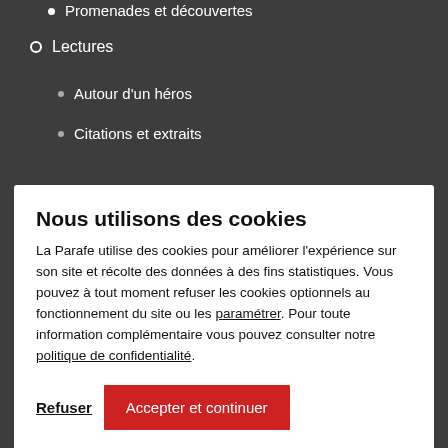Promenades et découvertes
Lectures
Autour d'un héros
Citations et extraits
Nous utilisons des cookies
La Parafe utilise des cookies pour améliorer l'expérience sur son site et récolte des données à des fins statistiques. Vous pouvez à tout moment refuser les cookies optionnels au fonctionnement du site ou les paramétrer. Pour toute information complémentaire vous pouvez consulter notre politique de confidentialité.
Refuser | Accepter et continuer
Travaux
Chantier de thèse
Dialogue dramaturgique autour de 'En miettes'
Traduction